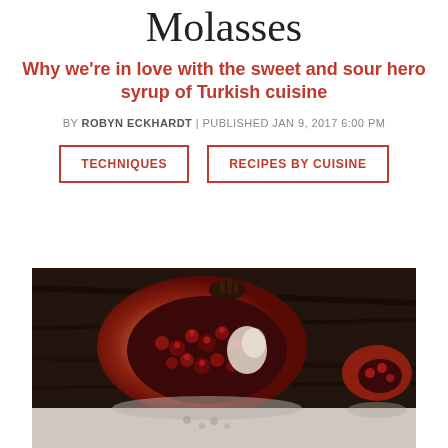Molasses
Why we're in love with the sweet and sour hero syrup of Turkish cuisine
BY ROBYN ECKHARDT | PUBLISHED JAN 9, 2017 6:00 PM
TECHNIQUES
RECIPES BY CUISINE
[Figure (photo): Close-up photograph of a halved pomegranate showing deep red seeds and white pith against a dark wooden background, with a reflection visible below.]